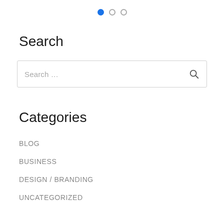[Figure (other): Pagination dots: one filled blue dot and two empty circle dots]
Search
[Figure (other): Search input box with placeholder text 'Search ...' and a magnifying glass icon on the right]
Categories
BLOG
BUSINESS
DESIGN / BRANDING
UNCATEGORIZED